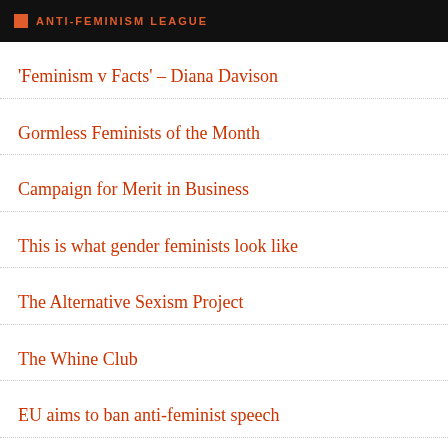ANTI-FEMINISM LEAGUE
'Feminism v Facts' – Diana Davison
Gormless Feminists of the Month
Campaign for Merit in Business
This is what gender feminists look like
The Alternative Sexism Project
The Whine Club
EU aims to ban anti-feminist speech
Janet Bloomfield: 'Where feminism went wrong? Oh, I don't know. Maybe with that whole men suck and